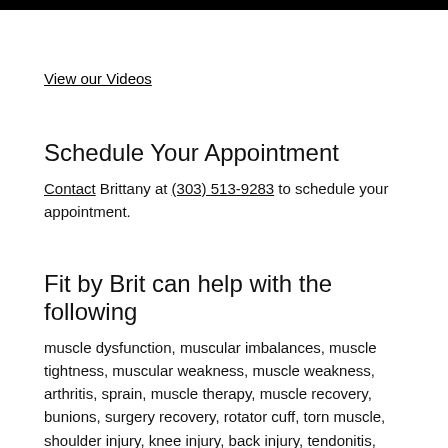[Figure (other): Black horizontal bar at top of page]
View our Videos
Schedule Your Appointment
Contact Brittany at (303) 513-9283 to schedule your appointment.
Fit by Brit can help with the following
muscle dysfunction, muscular imbalances, muscle tightness, muscular weakness, muscle weakness, arthritis, sprain, muscle therapy, muscle recovery, bunions, surgery recovery, rotator cuff, torn muscle, shoulder injury, knee injury, back injury, tendonitis, inflammation, carpal tunnel, knee or hip replacement, muscle contraction, muscular strength,